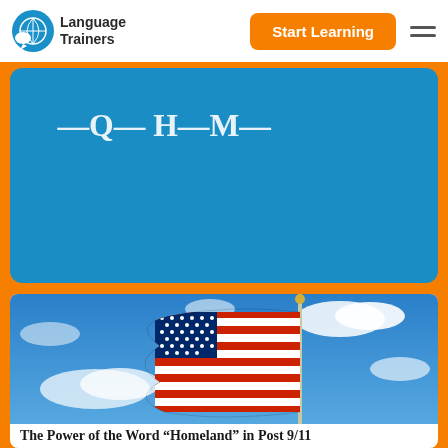Language Trainers
Start Learning
[Figure (screenshot): Blue panel with partial heading text visible, white text on teal/blue background showing partial words of a title/search area]
[Figure (photo): American flag waving against a blue sky with white clouds, mounted on a silver flagpole]
The Power of the Word “Homeland” in Post 9/11